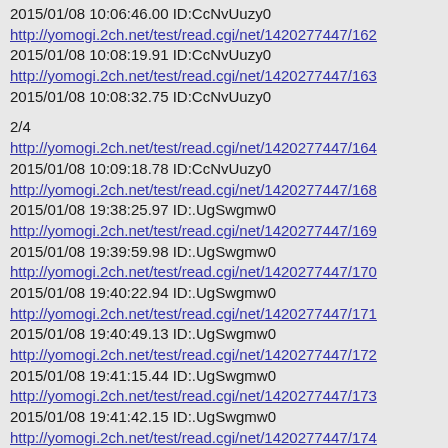2015/01/08 10:06:46.00 ID:CcNvUuzy0
http://yomogi.2ch.net/test/read.cgi/net/1420277447/162
2015/01/08 10:08:19.91 ID:CcNvUuzy0
http://yomogi.2ch.net/test/read.cgi/net/1420277447/163
2015/01/08 10:08:32.75 ID:CcNvUuzy0
2/4
http://yomogi.2ch.net/test/read.cgi/net/1420277447/164
2015/01/08 10:09:18.78 ID:CcNvUuzy0
http://yomogi.2ch.net/test/read.cgi/net/1420277447/168
2015/01/08 19:38:25.97 ID:.UgSwgmw0
http://yomogi.2ch.net/test/read.cgi/net/1420277447/169
2015/01/08 19:39:59.98 ID:.UgSwgmw0
http://yomogi.2ch.net/test/read.cgi/net/1420277447/170
2015/01/08 19:40:22.94 ID:.UgSwgmw0
http://yomogi.2ch.net/test/read.cgi/net/1420277447/171
2015/01/08 19:40:49.13 ID:.UgSwgmw0
http://yomogi.2ch.net/test/read.cgi/net/1420277447/172
2015/01/08 19:41:15.44 ID:.UgSwgmw0
http://yomogi.2ch.net/test/read.cgi/net/1420277447/173
2015/01/08 19:41:42.15 ID:.UgSwgmw0
http://yomogi.2ch.net/test/read.cgi/net/1420277447/174
2015/01/08 19:42:08.60 ID:.UgSwgmw0
http://yomogi.2ch.net/test/read.cgi/net/1420277447/175
2015/01/08 19:42:35.77 ID:.UgSwgmw0
http://yomogi.2ch.net/test/read.cgi/net/1420277447/176